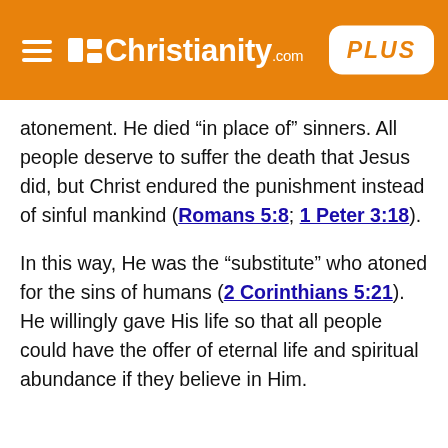Christianity.com PLUS
atonement. He died “in place of” sinners. All people deserve to suffer the death that Jesus did, but Christ endured the punishment instead of sinful mankind (Romans 5:8; 1 Peter 3:18).
In this way, He was the “substitute” who atoned for the sins of humans (2 Corinthians 5:21). He willingly gave His life so that all people could have the offer of eternal life and spiritual abundance if they believe in Him.